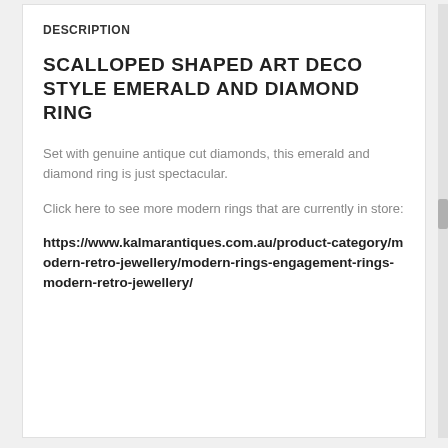DESCRIPTION
SCALLOPED SHAPED ART DECO STYLE EMERALD AND DIAMOND RING
Set with genuine antique cut diamonds, this emerald and diamond ring is just spectacular.
Click here to see more modern rings that are currently in store:
https://www.kalmarantiques.com.au/product-category/modern-retro-jewellery/modern-rings-engagement-rings-modern-retro-jewellery/